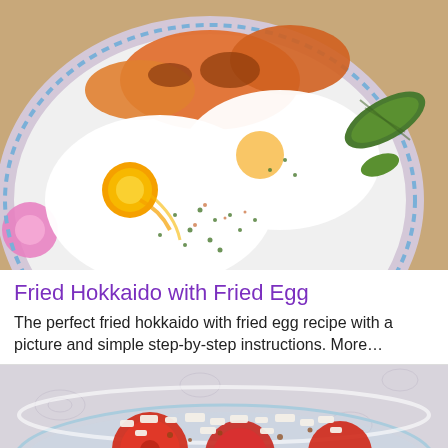[Figure (photo): A white plate with a floral pattern around the rim, containing fried eggs sprinkled with herbs and spices alongside fried Hokkaido pumpkin and a pickle, placed on a wooden surface.]
Fried Hokkaido with Fried Egg
The perfect fried hokkaido with fried egg recipe with a picture and simple step-by-step instructions. More…
[Figure (photo): A glass bowl containing tomato salad with crumbled white cheese (feta) and what appears to be spiced tomatoes, on a floral tablecloth.]